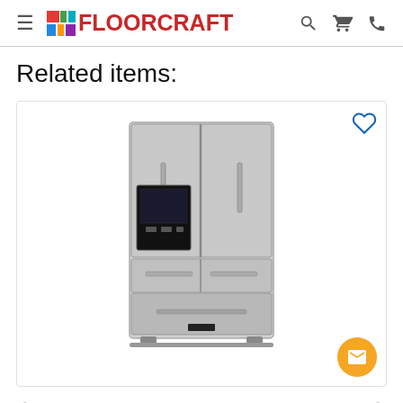FLOORCRAFT
Related items:
[Figure (photo): Stainless steel French door refrigerator with multiple drawers and ice/water dispenser on left door. Shown on a white background inside a product card with a heart/wishlist icon in the upper right corner.]